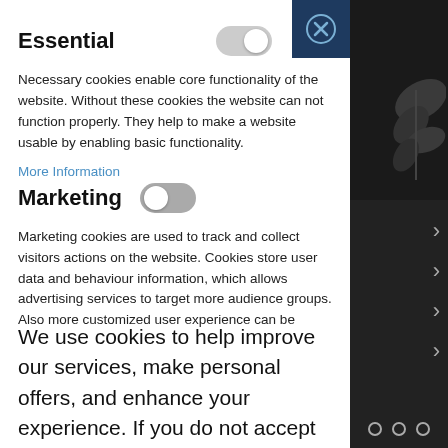Essential
Necessary cookies enable core functionality of the website. Without these cookies the website can not function properly. They help to make a website usable by enabling basic functionality.
More Information
Marketing
Marketing cookies are used to track and collect visitors actions on the website. Cookies store user data and behaviour information, which allows advertising services to target more audience groups. Also more customized user experience can be
We use cookies to help improve our services, make personal offers, and enhance your experience. If you do not accept optional cookies below, your experience may be affected. If you want to know more, please read the Cookie Policy